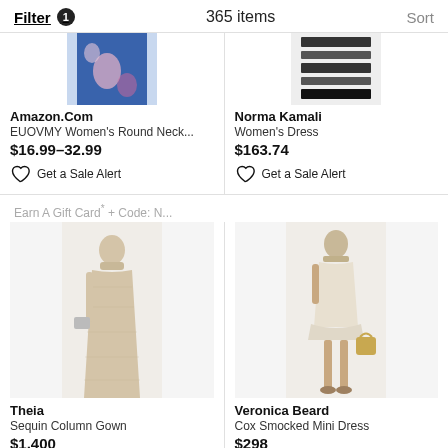Filter 1   365 items   Sort
[Figure (photo): Partial view of a floral blue dress (Amazon.com product)]
Amazon.Com
EUOVMY Women's Round Neck...
$16.99–32.99
Get a Sale Alert
[Figure (photo): Partial view of a striped dress (Norma Kamali product)]
Norma Kamali
Women's Dress
$163.74
Get a Sale Alert
Earn A Gift Card* + Code: N...
[Figure (photo): Theia Sequin Column Gown — full-length sequined gown on a model]
Theia
Sequin Column Gown
$1,400
[Figure (photo): Veronica Beard Cox Smocked Mini Dress — short white dress on a model]
Veronica Beard
Cox Smocked Mini Dress
$298